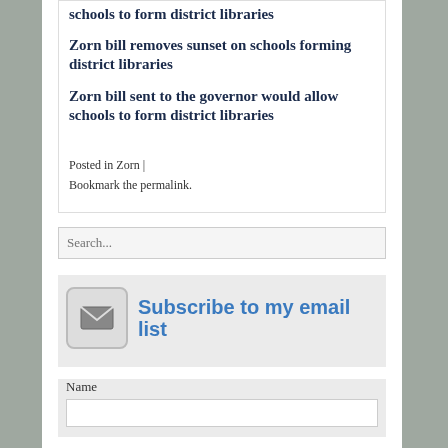schools to form district libraries
Zorn bill removes sunset on schools forming district libraries
Zorn bill sent to the governor would allow schools to form district libraries
Posted in Zorn |
Bookmark the permalink.
Search...
[Figure (infographic): Subscribe to my email list button with envelope icon]
Name